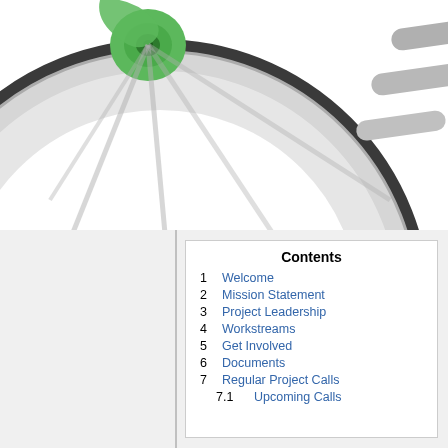[Figure (illustration): Partial view of a bicycle wheel with a green and gray hub/spokes graphic, cropped at the top-left. Gray arc shapes suggesting motion lines appear to the right.]
| # | Section |
| --- | --- |
| 1 | Welcome |
| 2 | Mission Statement |
| 3 | Project Leadership |
| 4 | Workstreams |
| 5 | Get Involved |
| 6 | Documents |
| 7 | Regular Project Calls |
| 7.1 | Upcoming Calls |